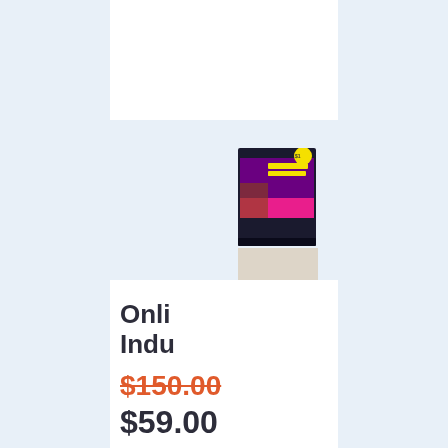[Figure (photo): Small product thumbnail image showing a colorful book/course cover with 'Online Projections' text and purple/pink design with a yellow badge]
Onli Indu
$150.00 $59.00